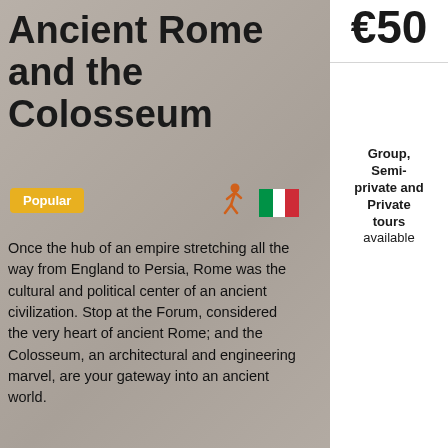Ancient Rome and the Colosseum
€50
Group, Semi-private and Private tours available
Popular
[Figure (illustration): Walking person icon (orange) and Italian flag icon]
Once the hub of an empire stretching all the way from England to Persia, Rome was the cultural and political center of an ancient civilization. Stop at the Forum, considered the very heart of ancient Rome; and the Colosseum, an architectural and engineering marvel, are your gateway into an ancient world.
Fri 2 September: Group @9am Tour spaces are available! Book this date >
Book now
[Figure (photo): Bottom strip showing blurred tourists at ancient Roman site]